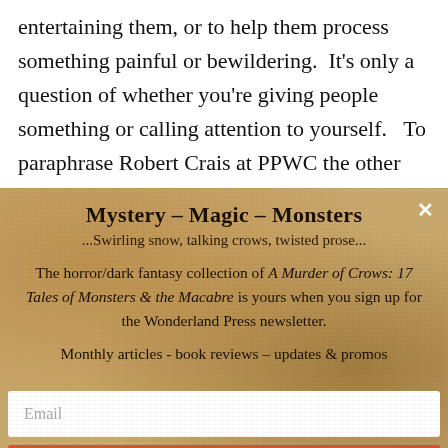entertaining them, or to help them process something painful or bewildering.  It's only a question of whether you're giving people something or calling attention to yourself.   To paraphrase Robert Crais at PPWC the other night, it's not about you, it's about the story.  Work to get over yourself.
Mystery – Magic – Monsters
...Swirling snow, talking crows, twisted prose...
The horror/dark fantasy collection of A Murder of Crows: 17 Tales of Monsters & the Macabre is yours when you sign up for the Wonderland Press newsletter.
Monthly articles - book reviews – updates & promos
Email
SUBSCRIBE